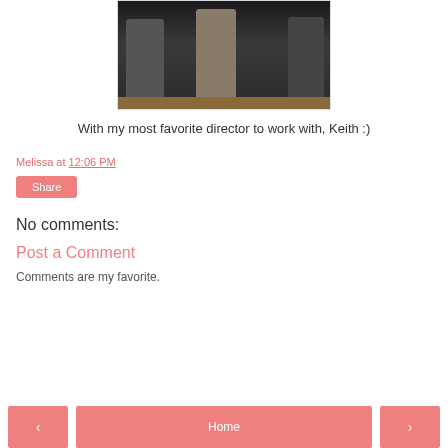[Figure (photo): Group photo of three people standing together, dark background]
With my most favorite director to work with, Keith :)
Melissa at 12:06 PM
Share
No comments:
Post a Comment
Comments are my favorite.
< Home >